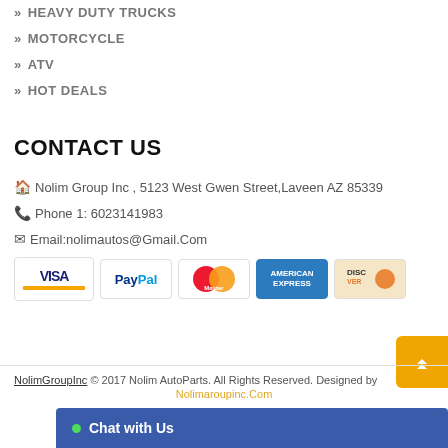HEAVY DUTY TRUCKS
MOTORCYCLE
ATV
HOT DEALS
CONTACT US
Nolim Group Inc , 5123 West Gwen Street,Laveen AZ 85339
Phone 1: 6023141983
Email:nolimautos@Gmail.Com
[Figure (other): Payment method logos: VISA, PayPal, MasterCard, American Express, Discover]
NolimGroupInc © 2017 Nolim AutoParts. All Rights Reserved. Designed by Nolimaroupinc.Com
Chat with Us